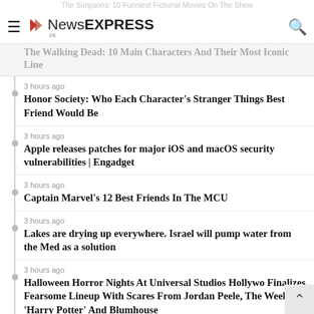NewsEXPRESS
The Walking Dead: 10 Main Characters And Their Most Iconic Line
3 hours ago
Honor Society: Who Each Character's Stranger Things Best Friend Would Be
3 hours ago
Apple releases patches for major iOS and macOS security vulnerabilities | Engadget
3 hours ago
Captain Marvel's 12 Best Friends In The MCU
3 hours ago
Lakes are drying up everywhere. Israel will pump water from the Med as a solution
3 hours ago
Halloween Horror Nights At Universal Studios Hollywo Finalizes Fearsome Lineup With Scares From Jordan Peele, The Weeknd, 'Harry Potter' And Blumhouse